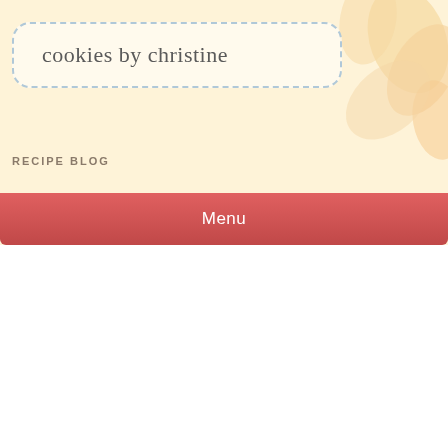cookies by christine
RECIPE BLOG
Menu
Mega triple chip cookies
MAY 13, 2021  CHRISTINE LISI  UNCATEGORIZED  LEAVE A COMMENT
Privacy & Cookies: This site uses cookies. By continuing to use this website, you agree to their use.
To find out more, including how to control cookies, see here: Cookie Policy
Close and accept